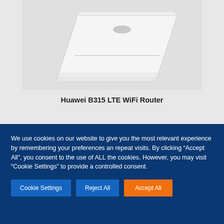[Figure (photo): Huawei B315 LTE WiFi Router product photo showing a white rectangular router device angled to the right, with Huawei logo on front, against a light gray background]
Huawei B315 LTE WiFi Router
We use cookies on our website to give you the most relevant experience by remembering your preferences an repeat visits. By clicking “Accept All”, you consent to the use of ALL the cookies. However, you may visit "Cookie Settings" to provide a controlled consent.
Cookie Settings | Reject All | Accept All